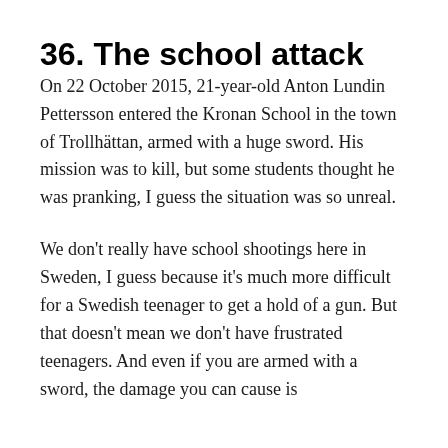36. The school attack
On 22 October 2015, 21-year-old Anton Lundin Pettersson entered the Kronan School in the town of Trollhättan, armed with a huge sword. His mission was to kill, but some students thought he was pranking, I guess the situation was so unreal.
We don't really have school shootings here in Sweden, I guess because it's much more difficult for a Swedish teenager to get a hold of a gun. But that doesn't mean we don't have frustrated teenagers. And even if you are armed with a sword, the damage you can cause is